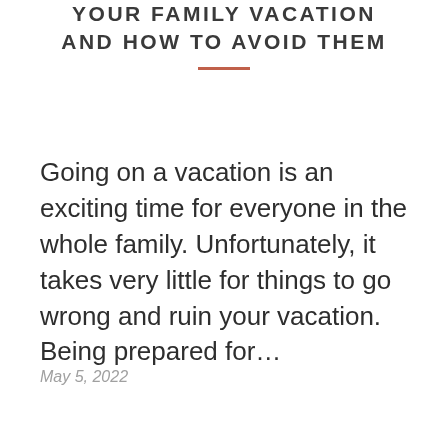YOUR FAMILY VACATION AND HOW TO AVOID THEM
Going on a vacation is an exciting time for everyone in the whole family. Unfortunately, it takes very little for things to go wrong and ruin your vacation. Being prepared for...
May 5, 2022